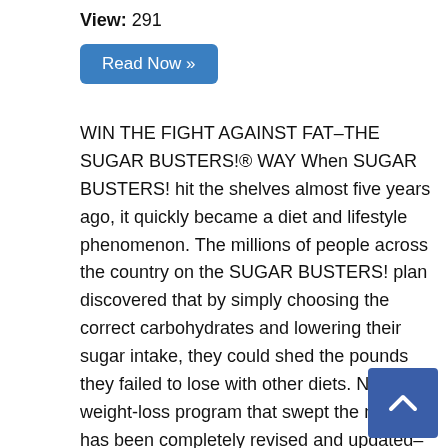View: 291
Read Now »
WIN THE FIGHT AGAINST FAT–THE SUGAR BUSTERS!® WAY When SUGAR BUSTERS! hit the shelves almost five years ago, it quickly became a diet and lifestyle phenomenon. The millions of people across the country on the SUGAR BUSTERS! plan discovered that by simply choosing the correct carbohydrates and lowering their sugar intake, they could shed the pounds they failed to lose with other diets. Now the weight-loss program that swept the nation has been completely revised and updated–incorporating all the newest nutritional findings, health statistics, and scientific discoveries that have…
[Figure (other): Blue scroll-to-top button with upward chevron arrow in bottom-right corner]